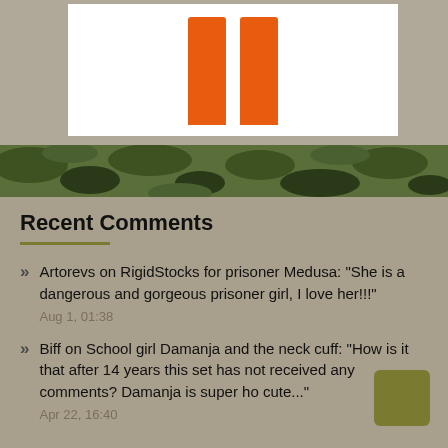[Figure (photo): Product image showing two orange vertical bars/posts on white background]
[Figure (photo): Camouflage pattern strip in green, dark green, and dark navy colors]
Recent Comments
Artorevs on RigidStocks for prisoner Medusa: “She is a dangerous and gorgeous prisoner girl, I love her!!!” Aug 1, 01:38
Biff on School girl Damanja and the neck cuff: “How is it that after 14 years this set has not received any comments? Damanja is super ho cute...” Apr 22, 16:40